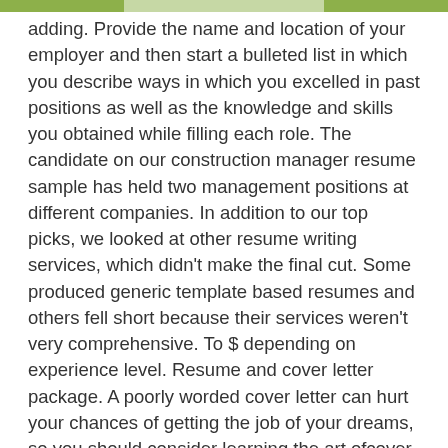adding. Provide the name and location of your employer and then start a bulleted list in which you describe ways in which you excelled in past positions as well as the knowledge and skills you obtained while filling each role. The candidate on our construction manager resume sample has held two management positions at different companies. In addition to our top picks, we looked at other resume writing services, which didn't make the final cut. Some produced generic template based resumes and others fell short because their services weren't very comprehensive. To $ depending on experience level. Resume and cover letter package. A poorly worded cover letter can hurt your chances of getting the job of your dreams, so you should consider learning the art ofcover letter writing UK to sharpen your skills. Our skilled team of writers has over a decade of experience in writing concise, engaging cover letters. Must have experience as resident engineer for municipalities. Prior experience handling publicly funded jobs. Worked with technicians, engineers, architects, contractors, and others who are involved in the construction process. Consolidated construction reports, project dates, status and convey